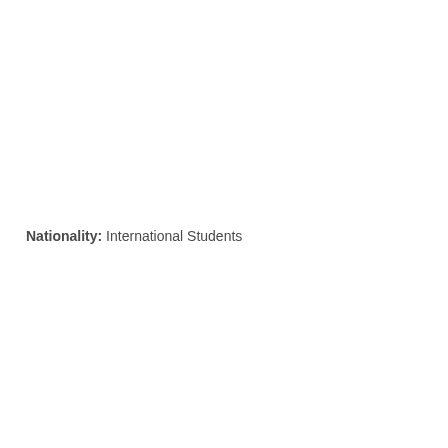Nationality: International Students